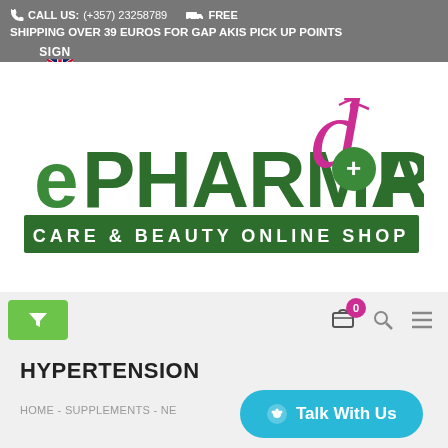CALL US: (+357) 23258789  FREE SHIPPING OVER 39 EUROS FOR GAP AKIS PICK UP POINTS  SIGN IN
[Figure (logo): ePHARMADORA – CARE & BEAUTY ONLINE SHOP logo with green and magenta typography]
[Figure (screenshot): Filter button (green funnel icon) and shopping cart with badge 0, search icon, and hamburger menu]
HYPERTENSION
HOME - SUPPLEMENTS - NE...
Talk With Us